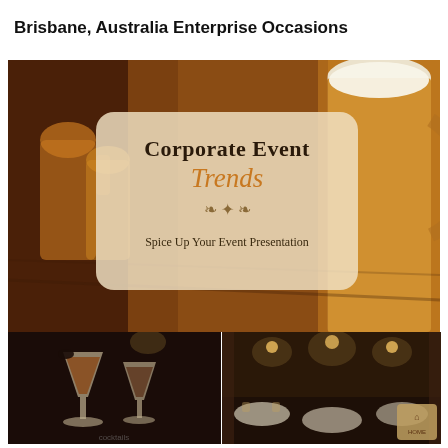Brisbane, Australia Enterprise Occasions
[Figure (photo): Corporate Event Trends promotional image showing beer mugs in a bar setting with an overlay text box reading 'Corporate Event Trends - Spice Up Your Event Presentation' with decorative leaf motif. Bottom row shows two smaller photos: left with cocktail/dessert drinks in martini glasses, right with an indoor event venue with round tables.]